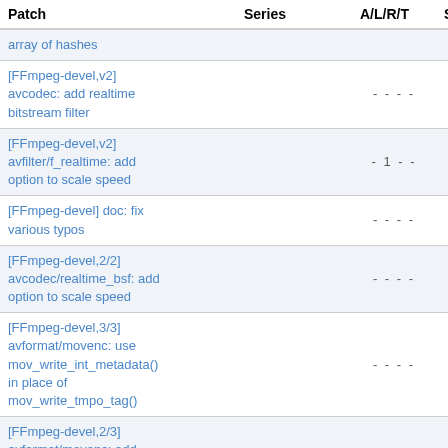| Patch | Series | A/L/R/T | S/W/F |
| --- | --- | --- | --- |
| array of hashes |  |  |  |
| [FFmpeg-devel,v2] avcodec: add realtime bitstream filter |  | - - - - | - - - |
| [FFmpeg-devel,v2] avfilter/f_realtime: add option to scale speed |  | - 1 - - | - - - |
| [FFmpeg-devel] doc: fix various typos |  | - - - - | - - - |
| [FFmpeg-devel,2/2] avcodec/realtime_bsf: add option to scale speed |  | - - - - | - - - |
| [FFmpeg-devel,3/3] avformat/movenc: use mov_write_int_metadata() in place of mov_write_tmpo_tag() |  | - - - - | - - - |
| [FFmpeg-devel,2/3] avformat/movenc: add mov_write_int_metadata() |  | - - - - | - - - |
| [FFmpeg-devel,1/3] |  |  |  |